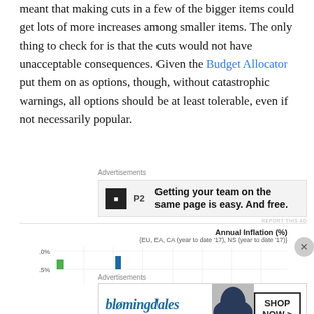meant that making cuts in a few of the bigger items could get lots of more increases among smaller items. The only thing to check for is that the cuts would not have unacceptable consequences. Given the Budget Allocator put them on as options, though, without catastrophic warnings, all options should be at least tolerable, even if not necessarily popular.
Advertisements
[Figure (other): Advertisement banner: P2 logo with text 'Getting your team on the same page is easy. And free.']
[Figure (bar-chart): Partial bar chart showing Annual Inflation (%) with two visible bars, y-axis labels .0% and .5%]
Advertisements
[Figure (other): Advertisement for Bloomingdale's: 'View Today's Top Deals!' with SHOP NOW > button and image of woman in hat]